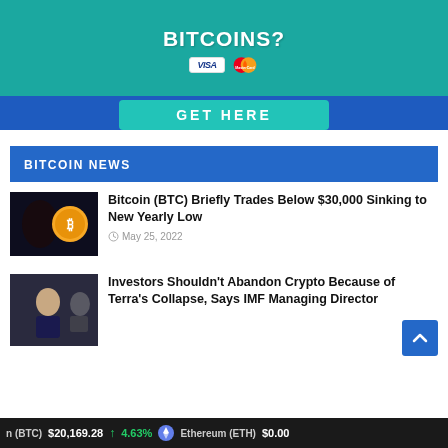[Figure (illustration): Advertisement banner for buying bitcoins with VISA/MasterCard, with a 'GET HERE' button on a teal/blue background]
BITCOIN NEWS
[Figure (photo): Thumbnail showing bitcoin coin with dark background]
Bitcoin (BTC) Briefly Trades Below $30,000 Sinking to New Yearly Low
May 25, 2022
[Figure (photo): Thumbnail showing a woman executive at a conference]
Investors Shouldn't Abandon Crypto Because of Terra's Collapse, Says IMF Managing Director
n (BTC)  $20,169.28  ↑ 4.63%  Ethereum (ETH)  $0.00